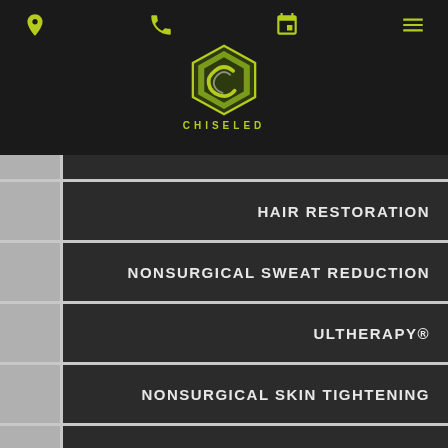[Figure (logo): Chiseled brand logo - hexagonal shape in yellow-green color with stylized letter C inside]
HAIR RESTORATION
NONSURGICAL SWEAT REDUCTION
ULTHERAPY®
NONSURGICAL SKIN TIGHTENING
COOLSCULPTING®
NONSURGICAL-MUSCLE-ENHANCEMENT